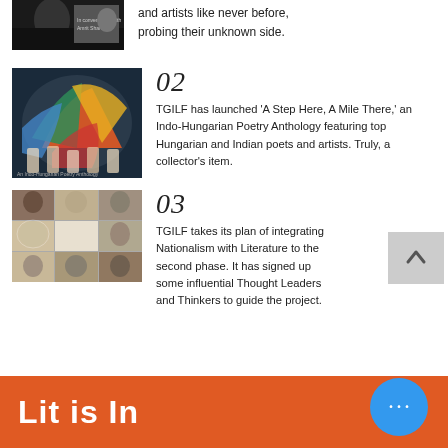[Figure (photo): Partial thumbnail of a person (top of page, continuation from previous section)]
and artists like never before, probing their unknown side.
[Figure (photo): Dance performance with colorful costumes and props, Indo-Hungarian Poetry Anthology cover image]
02
TGILF has launched 'A Step Here, A Mile There,' an Indo-Hungarian Poetry Anthology featuring top Hungarian and Indian poets and artists. Truly, a collector's item.
[Figure (photo): Collage of historical/notable Indian figures (black and white photos)]
03
TGILF takes its plan of integrating Nationalism with Literature to the second phase. It has signed up some influential Thought Leaders and Thinkers to guide the project.
Lit is In